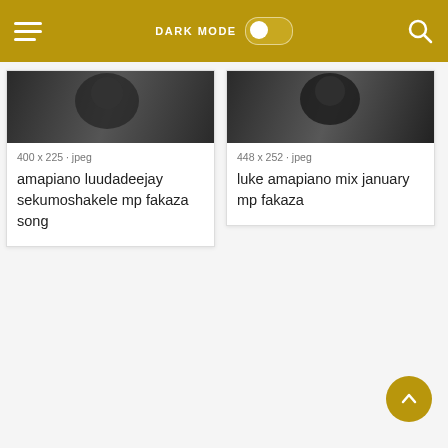DARK MODE toggle, hamburger menu, search icon
[Figure (screenshot): Thumbnail image of amapiano luudadeejay sekumoshakele song, dark photo]
400 x 225 · jpeg
amapiano luudadeejay sekumoshakele mp fakaza song
[Figure (screenshot): Thumbnail image of luke amapiano mix january song, dark photo]
448 x 252 · jpeg
luke amapiano mix january mp fakaza